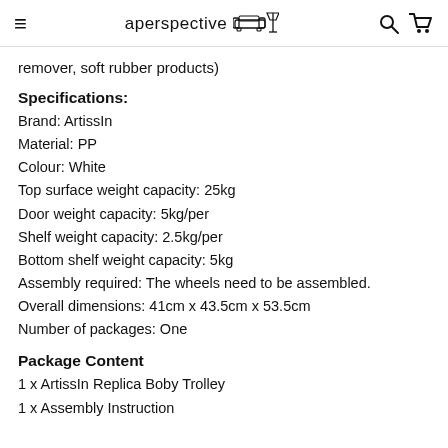aperspective interiors
remover, soft rubber products)
Specifications:
Brand: ArtissIn
Material: PP
Colour: White
Top surface weight capacity: 25kg
Door weight capacity: 5kg/per
Shelf weight capacity: 2.5kg/per
Bottom shelf weight capacity: 5kg
Assembly required: The wheels need to be assembled.
Overall dimensions: 41cm x 43.5cm x 53.5cm
Number of packages: One
Package Content
1 x ArtissIn Replica Boby Trolley
1 x Assembly Instruction